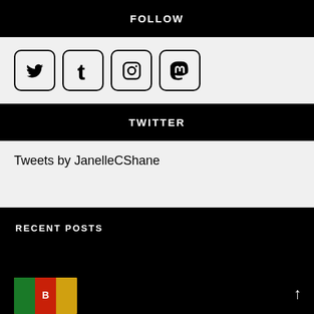FOLLOW
[Figure (illustration): Four social media icon buttons with rounded rectangle borders: Twitter bird, Tumblr t, Instagram camera, Mastodon M]
TWITTER
Tweets by JanelleCShane
RECENT POSTS
[Figure (photo): Thumbnail image of a book cover with yellow and red colors]